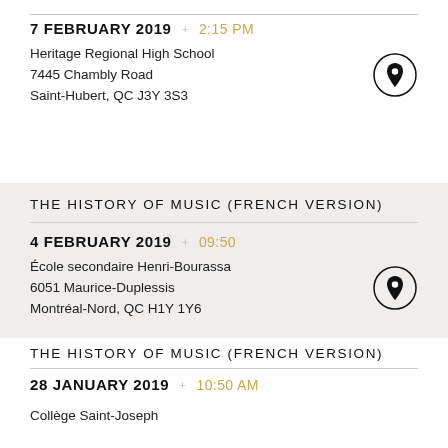7 FEBRUARY 2019  +  2:15 PM
Heritage Regional High School
7445 Chambly Road
Saint-Hubert, QC J3Y 3S3
THE HISTORY OF MUSIC (FRENCH VERSION)
4 FEBRUARY 2019  +  09:50
École secondaire Henri-Bourassa
6051 Maurice-Duplessis
Montréal-Nord, QC H1Y 1Y6
THE HISTORY OF MUSIC (FRENCH VERSION)
28 JANUARY 2019  +  10:50 AM
Collège Saint-Joseph